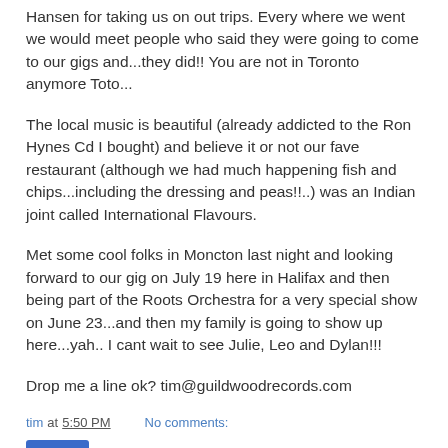Hansen for taking us on out trips. Every where we went we would meet people who said they were going to come to our gigs and...they did!! You are not in Toronto anymore Toto...
The local music is beautiful (already addicted to the Ron Hynes Cd I bought) and believe it or not our fave restaurant (although we had much happening fish and chips...including the dressing and peas!!..) was an Indian joint called International Flavours.
Met some cool folks in Moncton last night and looking forward to our gig on July 19 here in Halifax and then being part of the Roots Orchestra for a very special show on June 23...and then my family is going to show up here...yah.. I cant wait to see Julie, Leo and Dylan!!!
Drop me a line ok? tim@guildwoodrecords.com
tim at 5:50 PM    No comments: